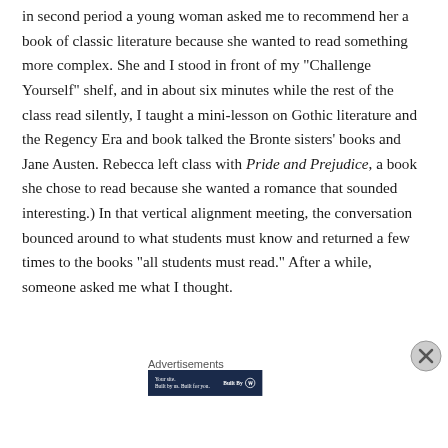in second period a young woman asked me to recommend her a book of classic literature because she wanted to read something more complex. She and I stood in front of my “Challenge Yourself” shelf, and in about six minutes while the rest of the class read silently, I taught a mini-lesson on Gothic literature and the Regency Era and book talked the Bronte sisters’ books and Jane Austen. Rebecca left class with Pride and Prejudice, a book she chose to read because she wanted a romance that sounded interesting.) In that vertical alignment meeting, the conversation bounced around to what students must know and returned a few times to the books “all students must read.” After a while, someone asked me what I thought.
Advertisements
[Figure (other): Advertisement banner with dark navy background reading 'Your site. Built by us. Built for you.' with 'Built By' and WordPress logo on right.]